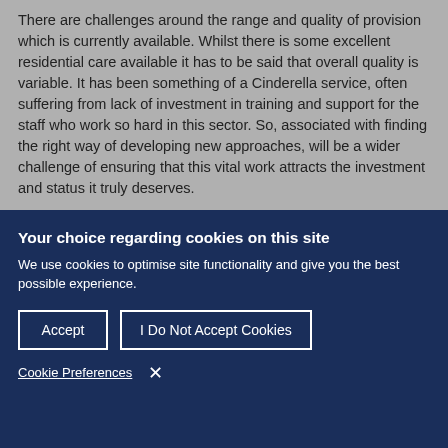There are challenges around the range and quality of provision which is currently available. Whilst there is some excellent residential care available it has to be said that overall quality is variable. It has been something of a Cinderella service, often suffering from lack of investment in training and support for the staff who work so hard in this sector. So, associated with finding the right way of developing new approaches, will be a wider challenge of ensuring that this vital work attracts the investment and status it truly deserves.
Your choice regarding cookies on this site
We use cookies to optimise site functionality and give you the best possible experience.
Accept
I Do Not Accept Cookies
Cookie Preferences